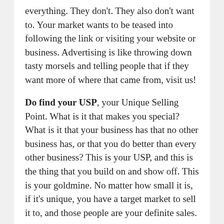everything. They don't. They also don't want to. Your market wants to be teased into following the link or visiting your website or business. Advertising is like throwing down tasty morsels and telling people that if they want more of where that came from, visit us!
Do find your USP, your Unique Selling Point. What is it that makes you special? What is it that your business has that no other business has, or that you do better than every other business? This is your USP, and this is the thing that you build on and show off. This is your goldmine. No matter how small it is, if it's unique, you have a target market to sell it to, and those people are your definite sales.